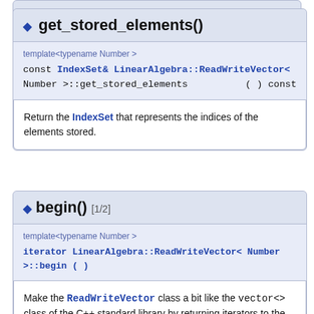get_stored_elements()
template<typename Number >
const IndexSet& LinearAlgebra::ReadWriteVector< Number >::get_stored_elements ( ) const
Return the IndexSet that represents the indices of the elements stored.
begin() [1/2]
template<typename Number >
iterator LinearAlgebra::ReadWriteVector< Number >::begin ( )
Make the ReadWriteVector class a bit like the vector<> class of the C++ standard library by returning iterators to the start